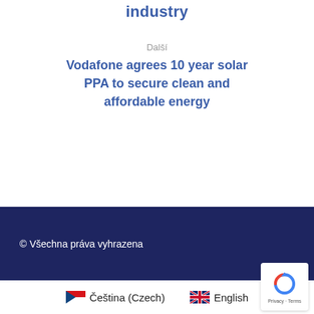industry
Další
Vodafone agrees 10 year solar PPA to secure clean and affordable energy
© Všechna práva vyhrazena
Čeština (Czech)  English